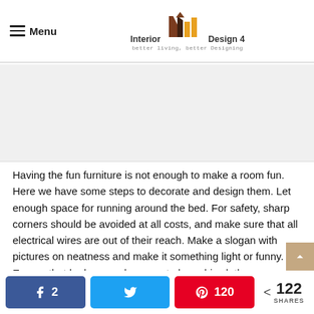Menu | Interior Design 4 - better living, better Designing
[Figure (other): Logo for Interior Design 4 website with triangular geometric shapes in brown, dark brown, and orange/gold colors forming an 'M' shape, with text 'Interior Design 4' and tagline 'better living, better Designing']
[Figure (other): Gray advertisement/placeholder area]
Having the fun furniture is not enough to make a room fun. Here we have some steps to decorate and design them. Let enough space for running around the bed. For safety, sharp corners should be avoided at all costs, and make sure that all electrical wires are out of their reach. Make a slogan with pictures on neatness and make it something light or funny. Ensure that he has ample space to hang his clothes.
2 [Facebook share] | [Twitter share] | 120 [Pinterest save] | < 122 SHARES